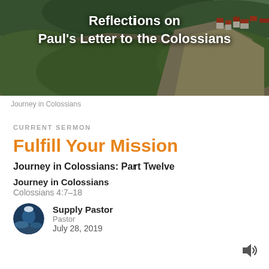[Figure (photo): Aerial/landscape photo of mountainous terrain with green slopes, rocky cliffs, and a small village with orange rooftops in the upper right. Overlaid white bold text reads 'Reflections on Paul's Letter to the Colossians'.]
Reflections on Paul's Letter to the Colossians
Journey in Colossians
CURRENT SERMON
Fulfill Your Mission
Journey in Colossians: Part Twelve
Journey in Colossians
Colossians 4:7–18
Supply Pastor
Pastor
July 28, 2019